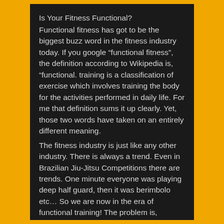Is Your Fitness Functional?
Functional fitness has got to be the biggest buzz word in the fitness industry today. If you google “functional fitness”, the definition according to Wikipedia is, “functional. training is a classification of exercise which involves training the body for the activities performed in daily life. For me that definition sums it up clearly. Yet, those two words have taken on an entirely different meaning.
The fitness industry is just like any other industry. There is always a trend. Even in Brazilian Jiu-Jitsu Competitions there are trends. One minute everyone was playing deep half guard, then it was berimbolo etc… So we are now in the era of functional training! The problem is, everyone is tagging functional to marketing campaigns and what not. It has taken on a different meaning.
I feel that people think that if you are doing a compound exercise that it is functional. I don’t agree entirely. I see some people doing the most outlandish stuff ever on Instagram. Then they say how functional it is. I’m thinking, functional for what exactly?? Maybe he thinks because he